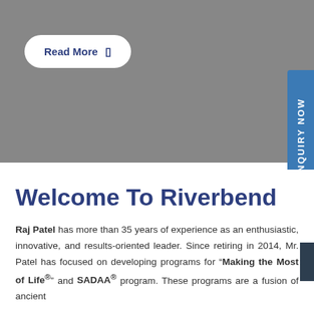[Figure (other): Gray hero banner background area at top of page]
Read More
INQUIRY NOW
Welcome To Riverbend
Raj Patel has more than 35 years of experience as an enthusiastic, innovative, and results-oriented leader. Since retiring in 2014, Mr. Patel has focused on developing programs for "Making the Most of Life®" and SADAA® program. These programs are a fusion of ancient